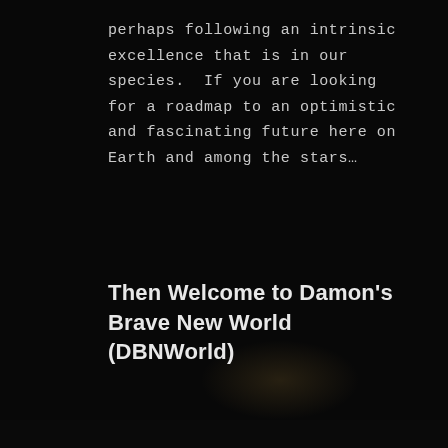perhaps following an intrinsic excellence that is in our species.  If you are looking for a roadmap to an optimistic and fascinating future here on Earth and among the stars…
Then Welcome to Damon's Brave New World (DBNWorld)